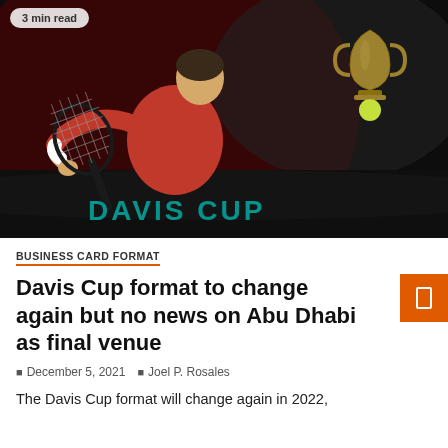[Figure (photo): Tennis player in red shirt hitting a backhand shot on a dark indoor court, with a trophy visible in the background. Davis Cup match setting.]
3 min read
BUSINESS CARD FORMAT
Davis Cup format to change again but no news on Abu Dhabi as final venue
December 5, 2021  Joel P. Rosales
The Davis Cup format will change again in 2022,